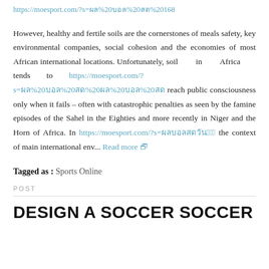https://moesport.com/?s=ผล%20บอล%20สด%20168
However, healthy and fertile soils are the cornerstones of meals safety, key environmental companies, social cohesion and the economies of most African international locations. Unfortunately, soil in Africa tends to https://moesport.com/?s=ผล%20บอล%20สด%20ผล%20บอล%20สด reach public consciousness only when it fails – often with catastrophic penalties as seen by the famine episodes of the Sahel in the Eighties and more recently in Niger and the Horn of Africa. In https://moesport.com/?s=ผลบอลสดวันนี้ the context of main international env... Read more 🗗
Tagged as : Sports Online
POST
DESIGN A SOCCER SOCCER